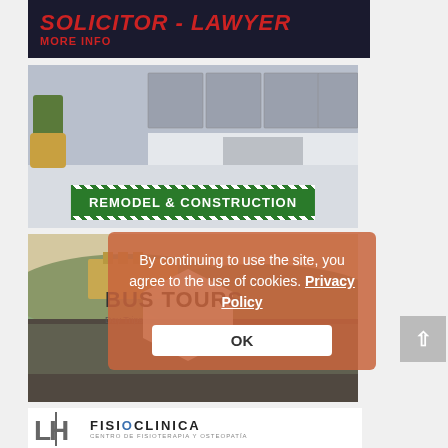[Figure (illustration): Advertisement banner for Solicitor/Lawyer services with red bold text 'SOLICITOR - LAWYER' and 'MORE INFO' on dark background]
[Figure (photo): Advertisement for Remodel & Construction service showing a modern kitchen interior with gray cabinets]
[Figure (photo): Advertisement for Bus Tours showing aerial view of Granada/Alhambra with a hexagonal badge overlay reading 'BUS TOURS Day Trips']
[Figure (logo): LH Fisio Clinica logo - Centro de Fisioterapia y Osteopatia]
By continuing to use the site, you agree to the use of cookies. Privacy Policy
OK